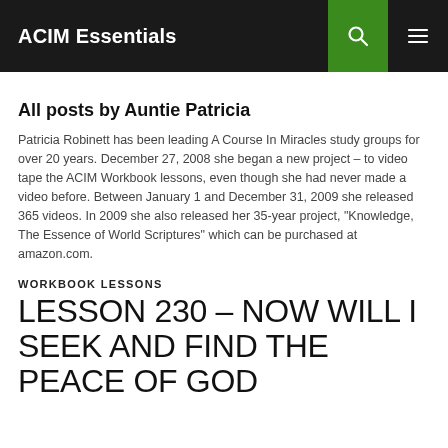ACIM Essentials
All posts by Auntie Patricia
Patricia Robinett has been leading A Course In Miracles study groups for over 20 years. December 27, 2008 she began a new project – to video tape the ACIM Workbook lessons, even though she had never made a video before. Between January 1 and December 31, 2009 she released 365 videos. In 2009 she also released her 35-year project, "Knowledge, The Essence of World Scriptures" which can be purchased at amazon.com.
WORKBOOK LESSONS
LESSON 230 – NOW WILL I SEEK AND FIND THE PEACE OF GOD